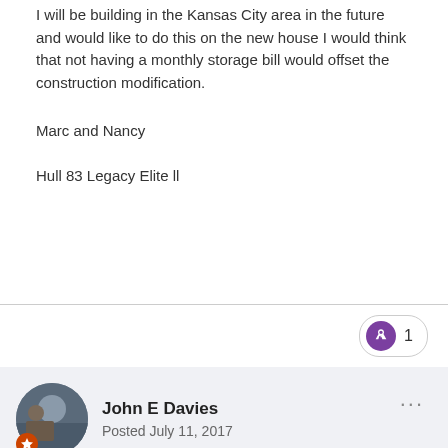I will be building in the Kansas City area in the future and would like to do this on the new house I would think that not having a monthly storage bill would offset the construction modification.
Marc and Nancy
Hull 83 Legacy Elite ll
John E Davies
Posted July 11, 2017